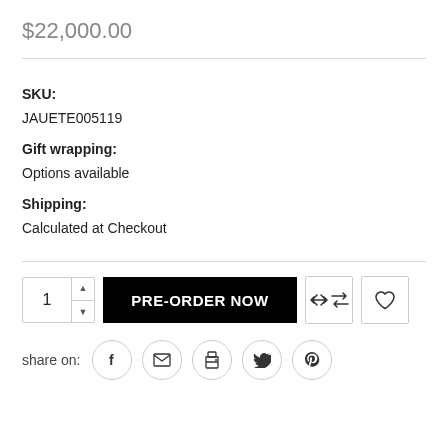$22,000.00
SKU:
JAUETE005119
Gift wrapping:
Options available
Shipping:
Calculated at Checkout
1  PRE-ORDER NOW
share on: